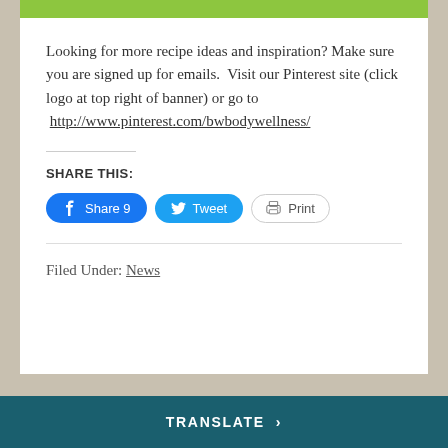[Figure (other): Green banner strip at the top of the content card]
Looking for more recipe ideas and inspiration? Make sure you are signed up for emails.  Visit our Pinterest site (click logo at top right of banner) or go to  http://www.pinterest.com/bwbodywellness/
SHARE THIS:
[Figure (other): Social share buttons: Facebook Share 9, Tweet, Print]
Filed Under: News
TRANSLATE >